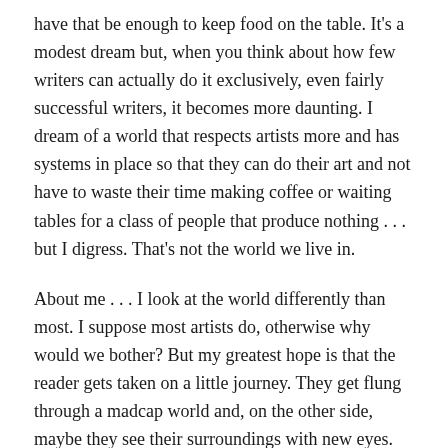have that be enough to keep food on the table. It's a modest dream but, when you think about how few writers can actually do it exclusively, even fairly successful writers, it becomes more daunting. I dream of a world that respects artists more and has systems in place so that they can do their art and not have to waste their time making coffee or waiting tables for a class of people that produce nothing . . . but I digress. That's not the world we live in.
About me . . . I look at the world differently than most. I suppose most artists do, otherwise why would we bother? But my greatest hope is that the reader gets taken on a little journey. They get flung through a madcap world and, on the other side, maybe they see their surroundings with new eyes.
Find me on social media: